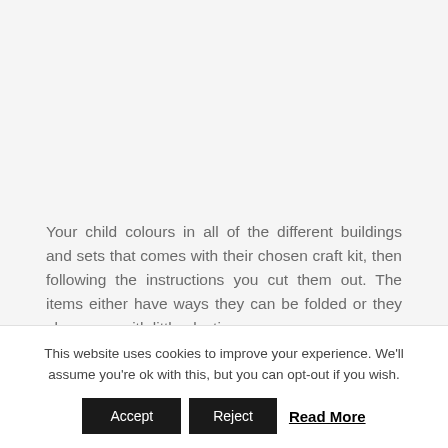Your child colours in all of the different buildings and sets that comes with their chosen craft kit, then following the instructions you cut them out. The items either have ways they can be folded or they also come with little plastic
This website uses cookies to improve your experience. We'll assume you're ok with this, but you can opt-out if you wish.